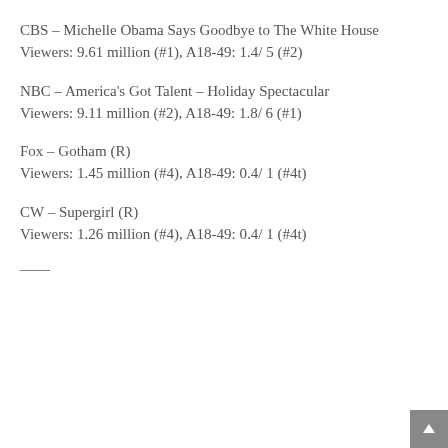CBS – Michelle Obama Says Goodbye to The White House
Viewers: 9.61 million (#1), A18-49: 1.4/ 5 (#2)
NBC – America's Got Talent – Holiday Spectacular
Viewers: 9.11 million (#2), A18-49: 1.8/ 6 (#1)
Fox – Gotham (R)
Viewers: 1.45 million (#4), A18-49: 0.4/ 1 (#4t)
CW – Supergirl (R)
Viewers: 1.26 million (#4), A18-49: 0.4/ 1 (#4t)
——